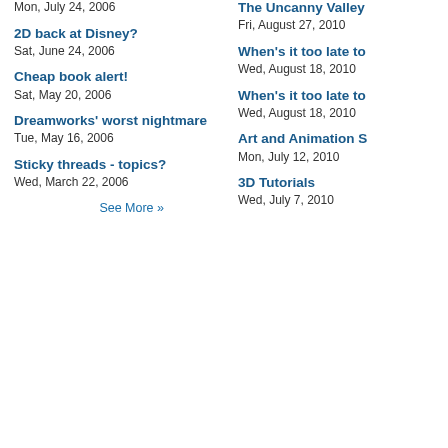Mon, July 24, 2006
2D back at Disney?
Sat, June 24, 2006
Cheap book alert!
Sat, May 20, 2006
Dreamworks' worst nightmare
Tue, May 16, 2006
Sticky threads - topics?
Wed, March 22, 2006
See More »
The Uncanny Valley
Fri, August 27, 2010
When's it too late to
Wed, August 18, 2010
When's it too late to
Wed, August 18, 2010
Art and Animation S
Mon, July 12, 2010
3D Tutorials
Wed, July 7, 2010